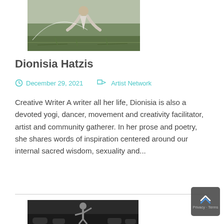[Figure (photo): Person bending down outdoors in a field/grassland area, wearing light grey clothing]
Dionisia Hatzis
December 29, 2021   Artist Network
Creative Writer A writer all her life, Dionisia is also a devoted yogi, dancer, movement and creativity facilitator, artist and community gatherer. In her prose and poetry, she shares words of inspiration centered around our internal sacred wisdom, sexuality and...
[Figure (photo): Person dancing or performing with arm raised, wearing a mask, in a dark indoor venue]